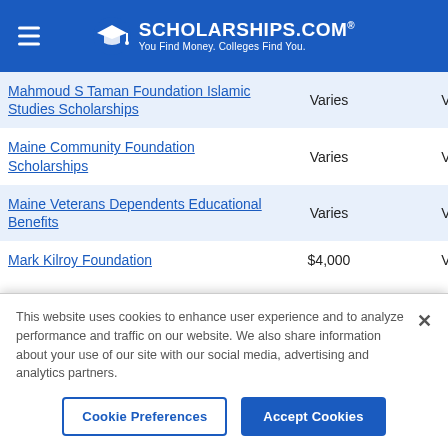SCHOLARSHIPS.COM® — You Find Money. Colleges Find You.
| Scholarship Name | Amount | Deadline |
| --- | --- | --- |
| Mahmoud S Taman Foundation Islamic Studies Scholarships | Varies | Varies |
| Maine Community Foundation Scholarships | Varies | Varies |
| Maine Veterans Dependents Educational Benefits | Varies | Varies |
| Mark Kilroy Foundation | $4,000 | Varies |
This website uses cookies to enhance user experience and to analyze performance and traffic on our website. We also share information about your use of our site with our social media, advertising and analytics partners.